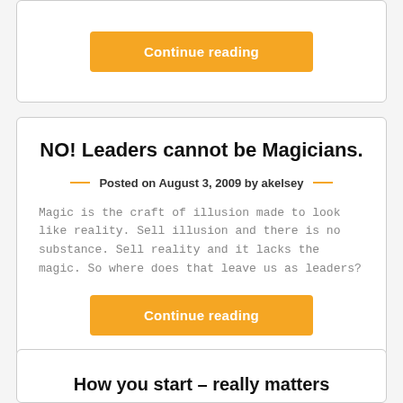Continue reading
NO! Leaders cannot be Magicians.
Posted on August 3, 2009 by akelsey
Magic is the craft of illusion made to look like reality. Sell illusion and there is no substance. Sell reality and it lacks the magic. So where does that leave us as leaders?
Continue reading
How you start – really matters